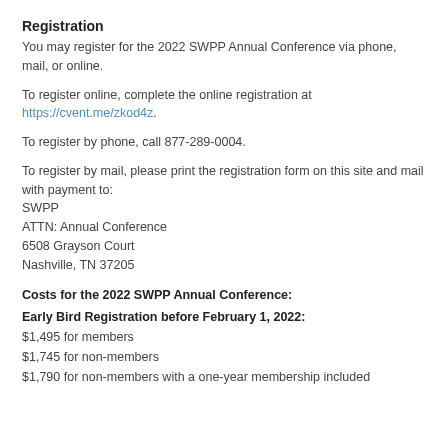Registration
You may register for the 2022 SWPP Annual Conference via phone, mail, or online.
To register online, complete the online registration at https://cvent.me/zkod4z.
To register by phone, call 877-289-0004.
To register by mail, please print the registration form on this site and mail with payment to:
SWPP
ATTN: Annual Conference
6508 Grayson Court
Nashville, TN 37205
Costs for the 2022 SWPP Annual Conference:
Early Bird Registration before February 1, 2022:
$1,495 for members
$1,745 for non-members
$1,790 for non-members with a one-year membership included